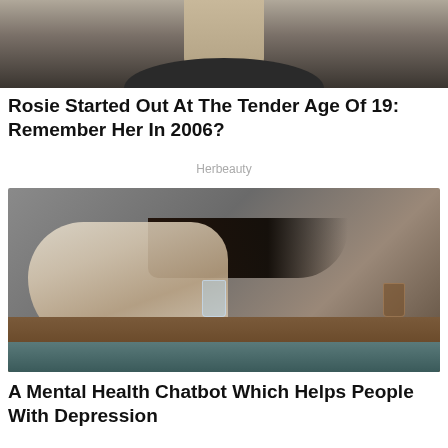[Figure (photo): Partial photo of a woman's neck and dark shirt, cropped at top]
Rosie Started Out At The Tender Age Of 19: Remember Her In 2006?
Herbeauty
[Figure (photo): Woman in white tank top lying on a wooden table with two glasses, long dark hair spread out]
A Mental Health Chatbot Which Helps People With Depression